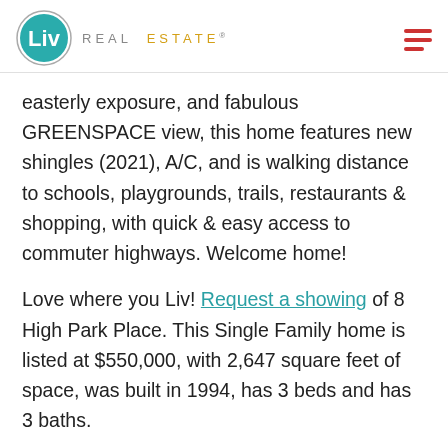Liv Real Estate
easterly exposure, and fabulous GREENSPACE view, this home features new shingles (2021), A/C, and is walking distance to schools, playgrounds, trails, restaurants & shopping, with quick & easy access to commuter highways. Welcome home!
Love where you Liv! Request a showing of 8 High Park Place. This Single Family home is listed at $550,000, with 2,647 square feet of space, was built in 1994, has 3 beds and has 3 baths.